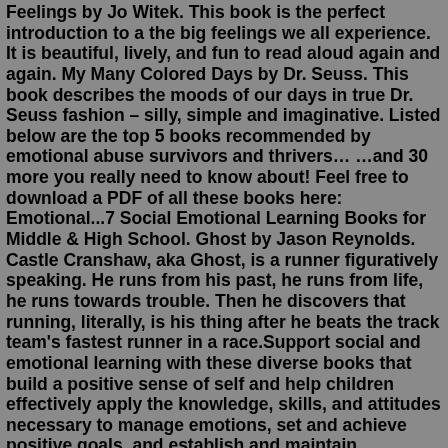Feelings by Jo Witek. This book is the perfect introduction to a the big feelings we all experience. It is beautiful, lively, and fun to read aloud again and again. My Many Colored Days by Dr. Seuss. This book describes the moods of our days in true Dr. Seuss fashion – silly, simple and imaginative. Listed below are the top 5 books recommended by emotional abuse survivors and thrivers… …and 30 more you really need to know about! Feel free to download a PDF of all these books here: Emotional...7 Social Emotional Learning Books for Middle & High School. Ghost by Jason Reynolds. Castle Cranshaw, aka Ghost, is a runner figuratively speaking. He runs from his past, he runs from life, he runs towards trouble. Then he discovers that running, literally, is his thing after he beats the track team's fastest runner in a race.Support social and emotional learning with these diverse books that build a positive sense of self and help children effectively apply the knowledge, skills, and attitudes necessary to manage emotions, set and achieve positive goals, and establish and maintain